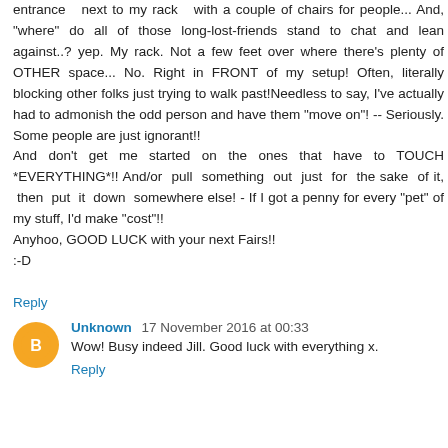entrance next to my rack with a couple of chairs for people... And, "where" do all of those long-lost-friends stand to chat and lean against..? yep. My rack. Not a few feet over where there's plenty of OTHER space... No. Right in FRONT of my setup! Often, literally blocking other folks just trying to walk past!Needless to say, I've actually had to admonish the odd person and have them "move on"! -- Seriously. Some people are just ignorant!! And don't get me started on the ones that have to TOUCH *EVERYTHING*!! And/or pull something out just for the sake of it, then put it down somewhere else! - If I got a penny for every "pet" of my stuff, I'd make "cost"!! Anyhoo, GOOD LUCK with your next Fairs!! :-D
Reply
Unknown 17 November 2016 at 00:33
Wow! Busy indeed Jill. Good luck with everything x.
Reply